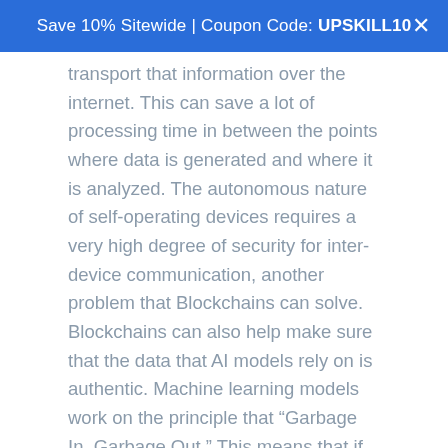Save 10% Sitewide | Coupon Code: UPSKILL10
transport that information over the internet. This can save a lot of processing time in between the points where data is generated and where it is analyzed. The autonomous nature of self-operating devices requires a very high degree of security for inter-device communication, another problem that Blockchains can solve. Blockchains can also help make sure that the data that AI models rely on is authentic. Machine learning models work on the principle that “Garbage In, Garbage Out.” This means that if the data used to develop the model is compromised, the result of that model cannot be beneficial either.
Applications of AI and Blockchains